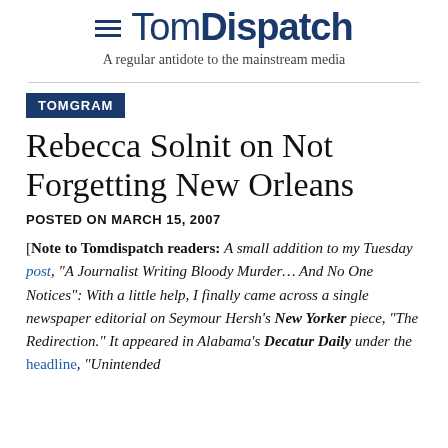TomDispatch — A regular antidote to the mainstream media
TOMGRAM
Rebecca Solnit on Not Forgetting New Orleans
POSTED ON MARCH 15, 2007
[Note to Tomdispatch readers: A small addition to my Tuesday post, "A Journalist Writing Bloody Murder... And No One Notices": With a little help, I finally came across a single newspaper editorial on Seymour Hersh's New Yorker piece, "The Redirection." It appeared in Alabama's Decatur Daily under the headline, "Unintended